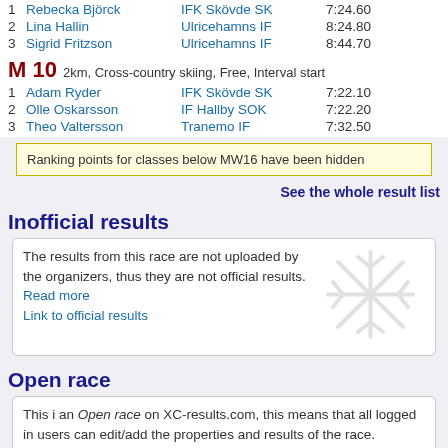1  Rebecka Björck  IFK Skövde SK  7:24.60
2  Lina Hallin  Ulricehamns IF  8:24.80
3  Sigrid Fritzson  Ulricehamns IF  8:44.70
M 10 2km, Cross-country skiing, Free, Interval start
1  Adam Ryder  IFK Skövde SK  7:22.10
2  Olle Oskarsson  IF Hallby SOK  7:22.20
3  Theo Valtersson  Tranemo IF  7:32.50
Ranking points for classes below MW16 have been hidden
See the whole result list
Inofficial results
The results from this race are not uploaded by the organizers, thus they are not official results. Read more
Link to official results
Open race
This i an Open race on XC-results.com, this means that all logged in users can edit/add the properties and results of the race.
You can apply to become race administrator for this race here!